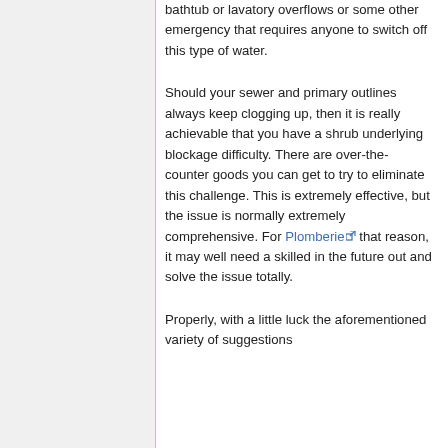bathtub or lavatory overflows or some other emergency that requires anyone to switch off this type of water.
Should your sewer and primary outlines always keep clogging up, then it is really achievable that you have a shrub underlying blockage difficulty. There are over-the-counter goods you can get to try to eliminate this challenge. This is extremely effective, but the issue is normally extremely comprehensive. For Plomberie that reason, it may well need a skilled in the future out and solve the issue totally.
Properly, with a little luck the aforementioned variety of suggestions